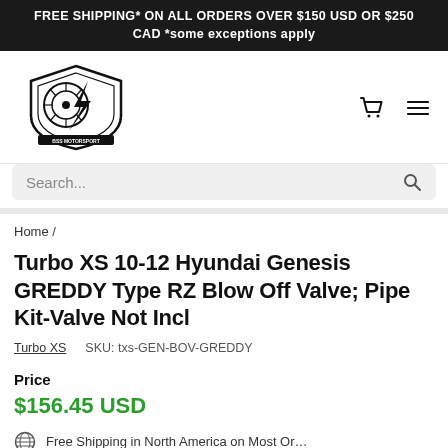FREE SHIPPING* ON ALL ORDERS OVER $150 USD OR $250 CAD *some exceptions apply
[Figure (logo): BSS Motorsport logo with wheel and lightning bolt shield emblem]
Search...
Home /
Turbo XS 10-12 Hyundai Genesis GREDDY Type RZ Blow Off Valve; Pipe Kit-Valve Not Incl
Turbo XS   SKU: txs-GEN-BOV-GREDDY
Price
$156.45 USD
Free Shipping in North America on Most Orders